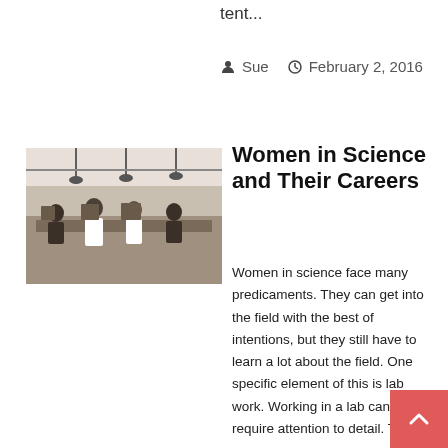tent...
Sue  February 2, 2016
[Figure (photo): Black and white photograph of women working at laboratory benches with equipment, hanging lights visible overhead]
Women in Science and Their Careers
Women in science face many predicaments. They can get into the field with the best of intentions, but they still have to learn a lot about the field. One specific element of this is lab work. Working in a lab can require attention to detail. This...